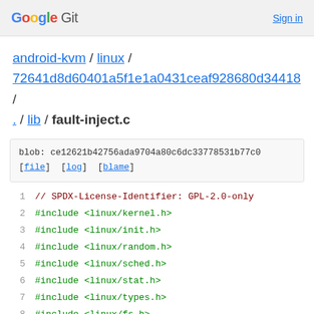Google Git   Sign in
android-kvm / linux / 72641d8d60401a5f1e1a0431ceaf928680d34418 / . / lib / fault-inject.c
blob: ce12621b42756ada9704a80c6dc33778531b77c0
[file] [log] [blame]
1  // SPDX-License-Identifier: GPL-2.0-only
2  #include <linux/kernel.h>
3  #include <linux/init.h>
4  #include <linux/random.h>
5  #include <linux/sched.h>
6  #include <linux/stat.h>
7  #include <linux/types.h>
8  #include <linux/fs.h>
9  #include <linux/export.h>
10 #include <linux/interrupt.h>